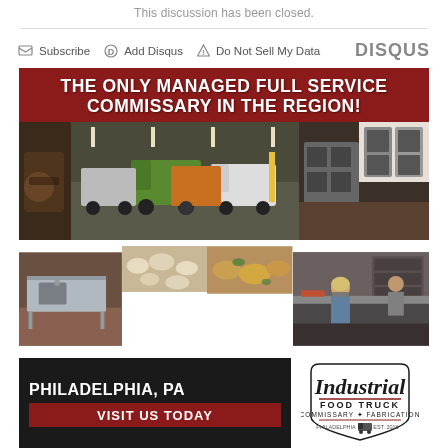This discussion has been closed.
Subscribe   Add Disqus   Do Not Sell My Data   DISQUS
[Figure (photo): Advertisement for Industrial Food Truck Commissary & Fabrication in Philadelphia, PA. Red header reads 'THE ONLY MANAGED FULL SERVICE COMMISSARY IN THE REGION!' with a photo collage of food trucks, kitchen equipment, food prep, and workers. Footer reads 'PHILADELPHIA, PA' and 'VISIT US TODAY' with the Industrial Food Truck logo.]